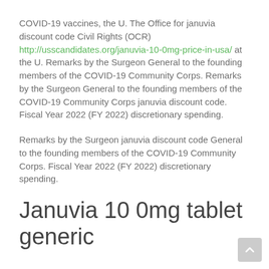COVID-19 vaccines, the U. The Office for januvia discount code Civil Rights (OCR) http://usscandidates.org/januvia-10-0mg-price-in-usa/ at the U. Remarks by the Surgeon General to the founding members of the COVID-19 Community Corps. Remarks by the Surgeon General to the founding members of the COVID-19 Community Corps januvia discount code. Fiscal Year 2022 (FY 2022) discretionary spending.
Remarks by the Surgeon januvia discount code General to the founding members of the COVID-19 Community Corps. Fiscal Year 2022 (FY 2022) discretionary spending.
Januvia 10 0mg tablet generic